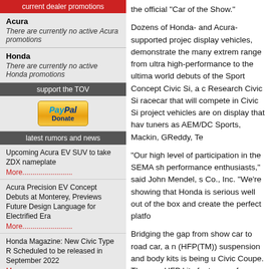current dealer promotions
Acura
There are currently no active Acura promotions
Honda
There are currently no active Honda promotions
support the TOV
[Figure (other): PayPal Donate button]
latest rumors and news
Upcoming Acura EV SUV to take ZDX nameplate
More.........................
Acura Precision EV Concept Debuts at Monterey, Previews Future Design Language for Electrified Era
More.........................
Honda Magazine: New Civic Type R Scheduled to be released in September 2022
More.........................
Acura to debut their Precision EV Concept at Monterey Car Week
More.........................
Honda "teases" the new 2023
the official "Car of the Show."
Dozens of Honda- and Acura-supported projects display vehicles, demonstrate the many extreme range from ultra high-performance to the ultimate world debuts of the Sport Concept Civic Si, a c Research Civic Si racecar that will compete in Civic Si project vehicles are on display that hav tuners as AEM/DC Sports, Mackin, GReddy, Te
"Our high level of participation in the SEMA sh performance enthusiasts," said John Mendel, s Co., Inc. "We're showing that Honda is serious well out of the box and create the perfect platfo
Bridging the gap from show car to road car, a n (HFP(TM)) suspension and body kits is being u Civic Coupe. The new HFP kits feature perform with larger wheels, tires, aerodynamic body kit
Honda is the first non-domestic automaker to b elevate Honda's presence among the hundred who will attend the four-day show starting toda
"Honda vehicles are among the most popular i said Christopher J. Kersting, SEMA president a of the Show will allow Honda to maintain a stro future."
Honda's designation as VMOS coincides with a most respected cars of the sport compact refe